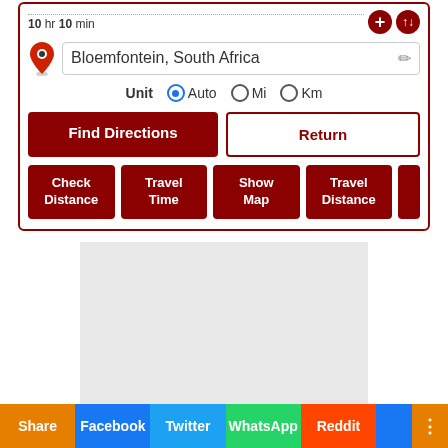10 hr 10 min
Bloemfontein, South Africa
Unit  Auto  Mi  Km
Find Directions
Return
Check Distance
Travel Time
Show Map
Travel Distance
[Figure (other): Gray advertisement placeholder area]
Share  Facebook  Twitter  WhatsApp  Reddit